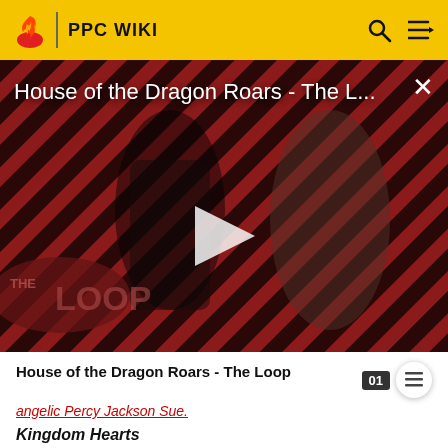PPC WIKI
[Figure (screenshot): Video thumbnail for 'House of the Dragon Roars - The L...' with a play button overlay, diagonal striped background in red/black, two characters visible, and 'THE LOOP' branding. An X close button appears in the top right.]
House of the Dragon Roars - The Loop
angelic Percy Jackson Sue.
Kingdom Hearts
Battle of the 1000 Heartless – Freyax and Freanix were dragged through a portal into a swarm of heartles